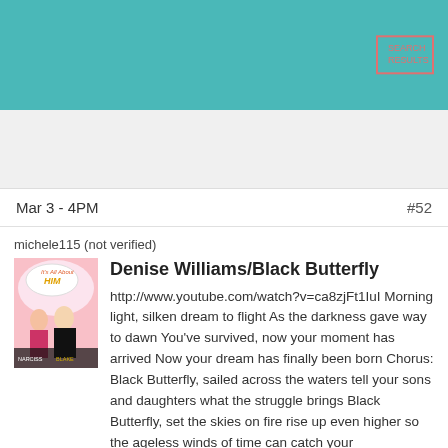Mar 3 - 4PM   #52
michele115 (not verified)
[Figure (illustration): Book cover for 'It's All About Him' by Narcissa Blake - cartoon style cover with man and woman]
Denise Williams/Black Butterfly
http://www.youtube.com/watch?v=ca8zjFt1IuI Morning light, silken dream to flight As the darkness gave way to dawn You've survived, now your moment has arrived Now your dream has finally been born Chorus: Black Butterfly, sailed across the waters tell your sons and daughters what the struggle brings Black Butterfly, set the skies on fire rise up even higher so the ageless winds of time can catch your